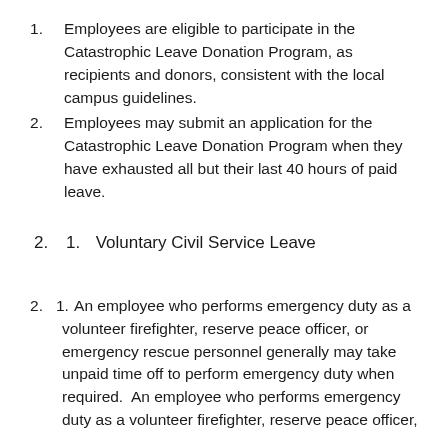Employees are eligible to participate in the Catastrophic Leave Donation Program, as recipients and donors, consistent with the local campus guidelines.
Employees may submit an application for the Catastrophic Leave Donation Program when they have exhausted all but their last 40 hours of paid leave.
Voluntary Civil Service Leave
An employee who performs emergency duty as a volunteer firefighter, reserve peace officer, or emergency rescue personnel generally may take unpaid time off to perform emergency duty when required. An employee who performs emergency duty as a volunteer firefighter, reserve peace officer,